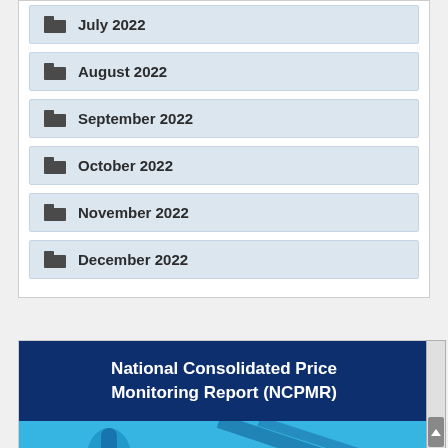July 2022
August 2022
September 2022
October 2022
November 2022
December 2022
National Consolidated Price Monitoring Report (NCPMR)
[Figure (photo): Blue background image related to NCPMR report]